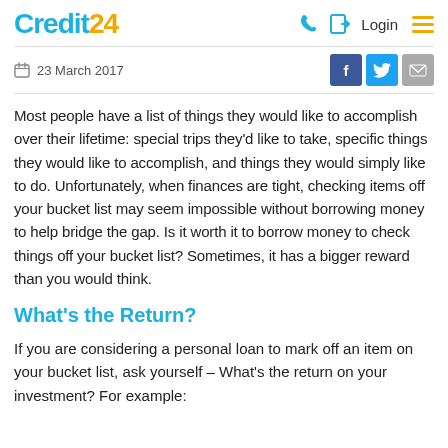Credit24 | Login
23 March 2017
Most people have a list of things they would like to accomplish over their lifetime: special trips they'd like to take, specific things they would like to accomplish, and things they would simply like to do. Unfortunately, when finances are tight, checking items off your bucket list may seem impossible without borrowing money to help bridge the gap. Is it worth it to borrow money to check things off your bucket list? Sometimes, it has a bigger reward than you would think.
What's the Return?
If you are considering a personal loan to mark off an item on your bucket list, ask yourself – What's the return on your investment? For example: